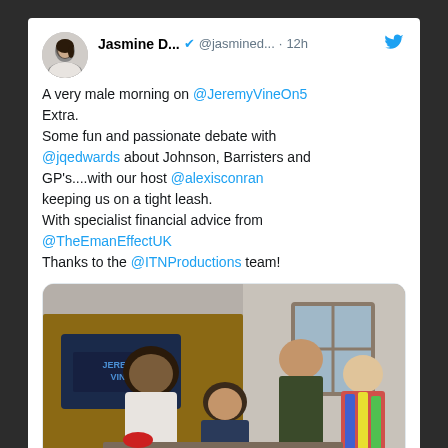[Figure (screenshot): Tweet by Jasmine D... (@jasmined...) posted 12h ago. Text: 'A very male morning on @JeremyVineOn5 Extra. Some fun and passionate debate with @jqedwards about Johnson, Barristers and GP's....with our host @alexisconran keeping us on a tight leash. With specialist financial advice from @TheEmanEffectUK Thanks to the @ITNProductions team!' with a photo of four people on a TV studio set with a Jeremy Vine backdrop.]
[Figure (photo): Four people posing in a TV studio with a Jeremy Vine branded backdrop. Two men and one woman standing, one man seated at a desk.]